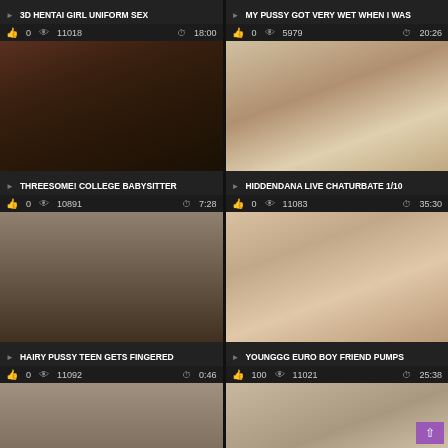3D HENTAI GIRL UNIFORM SEX | likes: 0, views: 11018, duration: 18:00
MY PUSSY GOT VERY WET WHEN I WAS | likes: 0, views: 5979, duration: 20:26
[Figure (photo): Video thumbnail - woman with green hair]
[Figure (photo): Video thumbnail - woman sitting on floor]
THREESOME! COLLEGE BABYSITTER | likes: 0, views: 10891, duration: 7:28
HIDDENDANA LIVE CHATURBATE 1/10 | likes: 0, views: 11083, duration: 35:30
[Figure (photo): Video thumbnail - close up]
[Figure (photo): Video thumbnail - two women]
HAIRY PUSSY TEEN GETS FINGERED | likes: 0, views: 11092, duration: 0:46
YOUNGGG EURO BOY FRIEND PUMPS | likes: 100, views: 11021, duration: 25:38